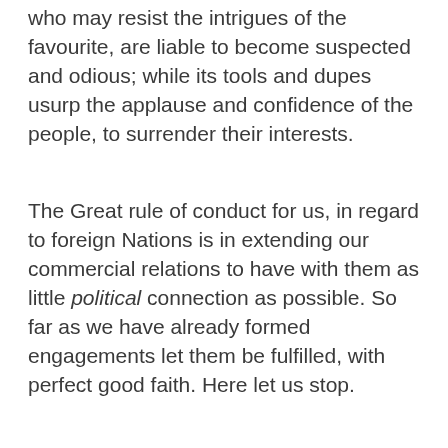who may resist the intrigues of the favourite, are liable to become suspected and odious; while its tools and dupes usurp the applause and confidence of the people, to surrender their interests.
The Great rule of conduct for us, in regard to foreign Nations is in extending our commercial relations to have with them as little political connection as possible. So far as we have already formed engagements let them be fulfilled, with perfect good faith. Here let us stop.